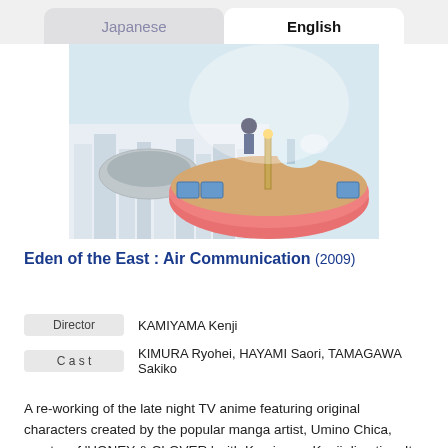Japanese | English
[Figure (illustration): Anime illustration showing a carousel or merry-go-round scene with characters and a futuristic cityscape in the background. Colorful characters on a round platform with a city view below.]
Eden of the East : Air Communication (2009)
| Role | Name |
| --- | --- |
| Director | KAMIYAMA Kenji |
| Cast | KIMURA Ryohei, HAYAMI Saori, TAMAGAWA Sakiko |
A re-working of the late night TV anime featuring original characters created by the popular manga artist, Umino Chica, creator of 'HONEY & CLOVER,' with Kamiyama Kenji directing. It features the same staff and cast as the two recent film versions of...